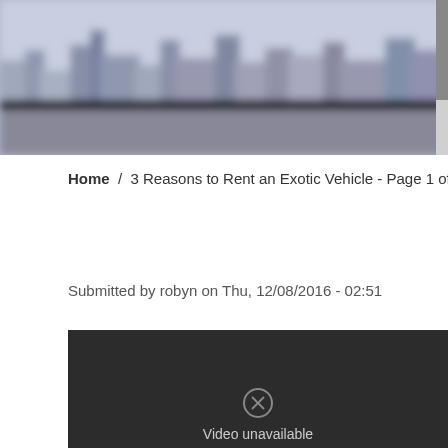[Figure (photo): Blurred cityscape/skyline header image with blue-grey tones and a scrollbar on the right side]
Home / 3 Reasons to Rent an Exotic Vehicle - Page 1 of
Submitted by robyn on Thu, 12/08/2016 - 02:51
[Figure (screenshot): Dark video player showing 'Video unavailable' message on dark background]